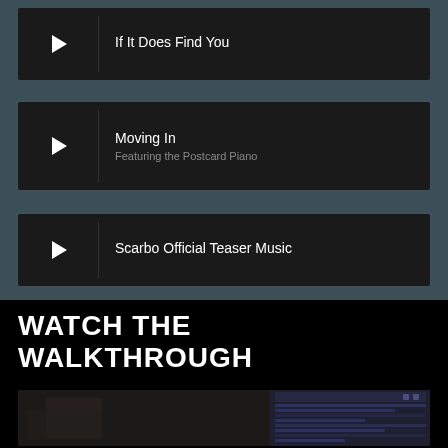[Figure (screenshot): Media player row 1: play button icon on left, track title 'If It Does Find You' on right, dark background]
[Figure (screenshot): Media player row 2: play button icon on left, track title 'Moving In' with subtitle 'Featuring the Postcard Piano', dark background]
[Figure (screenshot): Media player row 3: play button icon on left, track title 'Scarbo Official Teaser Music', dark background]
WATCH THE WALKTHROUGH
[Figure (screenshot): Video thumbnail at bottom showing a man and a DAW/software interface on the right side]